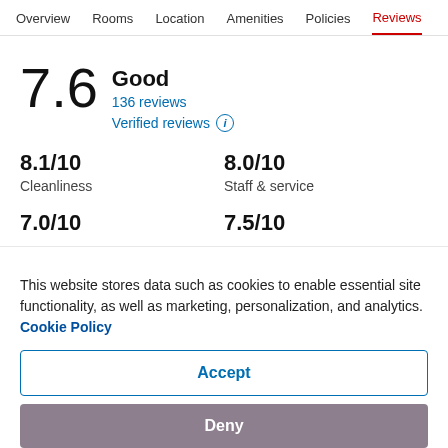Overview  Rooms  Location  Amenities  Policies  Reviews
7.6
Good
136 reviews
Verified reviews
8.1/10 Cleanliness   8.0/10 Staff & service
7.0/10   7.5/10
This website stores data such as cookies to enable essential site functionality, as well as marketing, personalization, and analytics. Cookie Policy
Accept
Deny